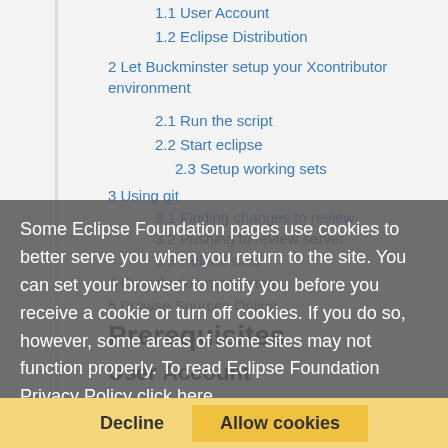1.1 User Account
1.2 Eclipse Distribution
2 Let Buckminster setup your Xcontributor environment
2.1 Run the script
2.2 Start eclipse
2.3 Setup working sets
3 Using git
3.1 Finding changes to review
3.2 Pushing to review server
3.3 Helpful sites
4 Contribution monitoring
5 Browse Sources Online
Some Eclipse Foundation pages use cookies to better serve you when you return to the site. You can set your browser to notify you before you receive a cookie or turn off cookies. If you do so, however, some areas of some sites may not function properly. To read Eclipse Foundation Privacy Policy click here.
Prerequisites
User Account
We use eclipse gerrit review server 🔒. To use the review server a few steps are required:
Register an Eclipse.org account at dev.eclipse.org 🔒. The same account is used for